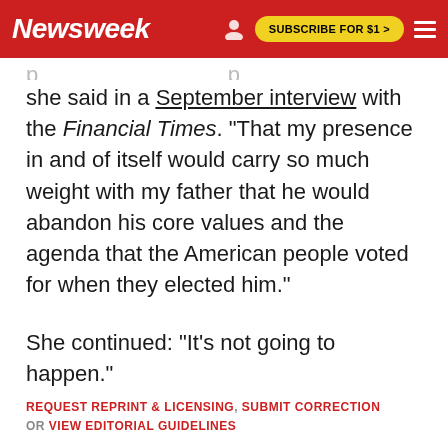Newsweek | SUBSCRIBE FOR $1 >
she said in a September interview with the Financial Times. "That my presence in and of itself would carry so much weight with my father that he would abandon his core values and the agenda that the American people voted for when they elected him."
She continued: "It's not going to happen."
REQUEST REPRINT & LICENSING, SUBMIT CORRECTION OR VIEW EDITORIAL GUIDELINES